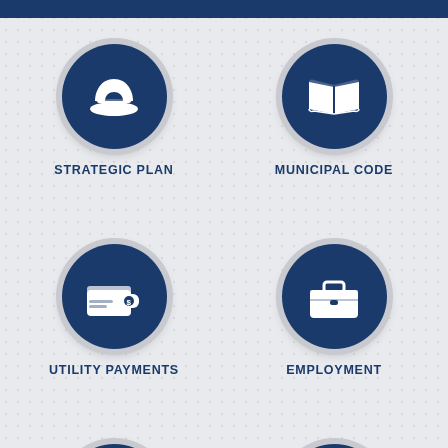[Figure (infographic): Six circular icon buttons on a grey textured background in a 2x3 grid. Top-left: hard hat icon labeled STRATEGIC PLAN. Top-right: open book icon labeled MUNICIPAL CODE. Middle-left: wallet with dollar sign icon labeled UTILITY PAYMENTS. Middle-right: briefcase/toolbox icon labeled EMPLOYMENT. Bottom-left: document with lines icon (partially visible). Bottom-right: heart with wrench icon (partially visible).]